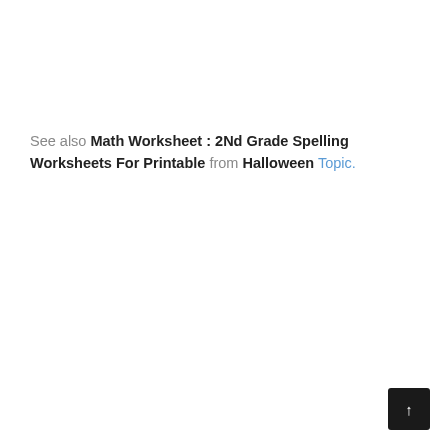See also Math Worksheet : 2Nd Grade Spelling Worksheets For Printable from Halloween Topic.